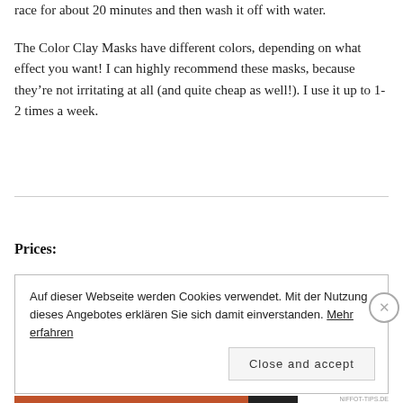race for about 20 minutes and then wash it off with water.
The Color Clay Masks have different colors, depending on what effect you want! I can highly recommend these masks, because they're not irritating at all (and quite cheap as well!). I use it up to 1-2 times a week.
Prices:
Auf dieser Webseite werden Cookies verwendet. Mit der Nutzung dieses Angebotes erklären Sie sich damit einverstanden. Mehr erfahren
Close and accept